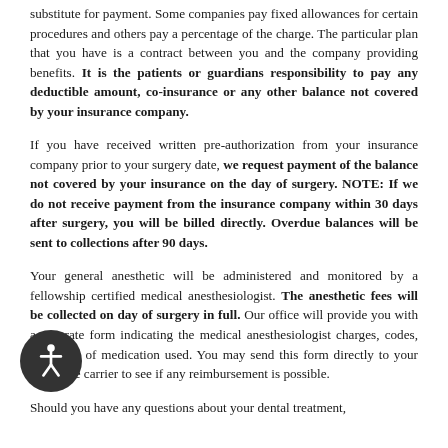substitute for payment. Some companies pay fixed allowances for certain procedures and others pay a percentage of the charge. The particular plan that you have is a contract between you and the company providing benefits. It is the patients or guardians responsibility to pay any deductible amount, co-insurance or any other balance not covered by your insurance company.
If you have received written pre-authorization from your insurance company prior to your surgery date, we request payment of the balance not covered by your insurance on the day of surgery. NOTE: If we do not receive payment from the insurance company within 30 days after surgery, you will be billed directly. Overdue balances will be sent to collections after 90 days.
Your general anesthetic will be administered and monitored by a fellowship certified medical anesthesiologist. The anesthetic fees will be collected on day of surgery in full. Our office will provide you with a separate form indicating the medical anesthesiologist charges, codes, and a list of medication used. You may send this form directly to your insurance carrier to see if any reimbursement is possible.
Should you have any questions about your dental treatment,